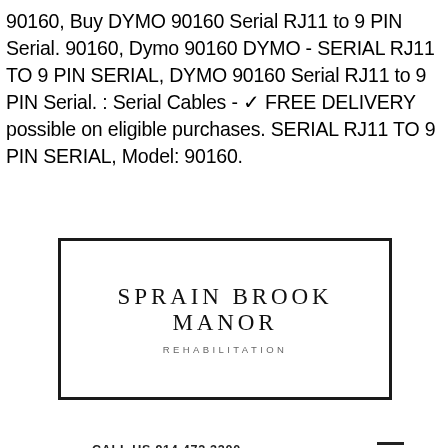90160, Buy DYMO 90160 Serial RJ11 to 9 PIN Serial. 90160, Dymo 90160 DYMO - SERIAL RJ11 TO 9 PIN SERIAL, DYMO 90160 Serial RJ11 to 9 PIN Serial. : Serial Cables - ✓ FREE DELIVERY possible on eligible purchases. SERIAL RJ11 TO 9 PIN SERIAL, Model: 90160.
[Figure (logo): Sprain Brook Manor Rehabilitation logo — rectangular black border, large serif text 'SPRAIN BROOK MANOR' with smaller spaced-letter subtitle 'REHABILITATION']
CALL US 914 472 3200
[Figure (photo): Photo of a healthcare worker in teal scrubs smiling at an elderly patient, partially visible at bottom of page with 'Testimonials' text overlaid in white]
Testimonials